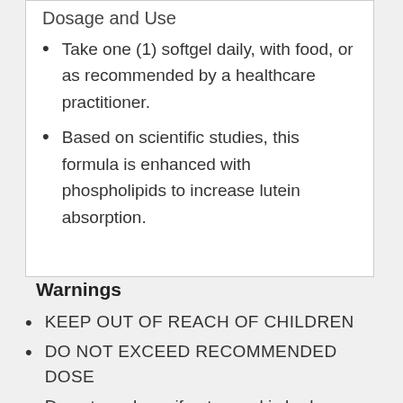Dosage and Use
Take one (1) softgel daily, with food, or as recommended by a healthcare practitioner.
Based on scientific studies, this formula is enhanced with phospholipids to increase lutein absorption.
Warnings
KEEP OUT OF REACH OF CHILDREN
DO NOT EXCEED RECOMMENDED DOSE
Do not purchase if outer seal is broken or damaged.
When using nutritional supplements, please consult with your physician if you are